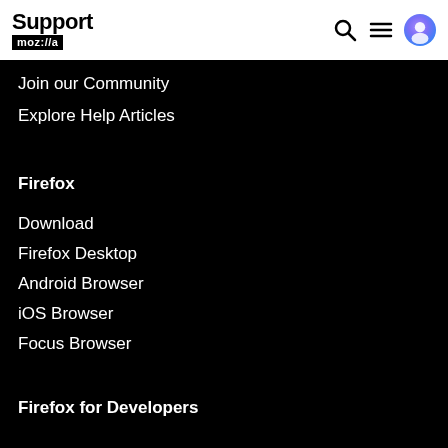Support mozilla
Join our Community
Explore Help Articles
Firefox
Download
Firefox Desktop
Android Browser
iOS Browser
Focus Browser
Firefox for Developers